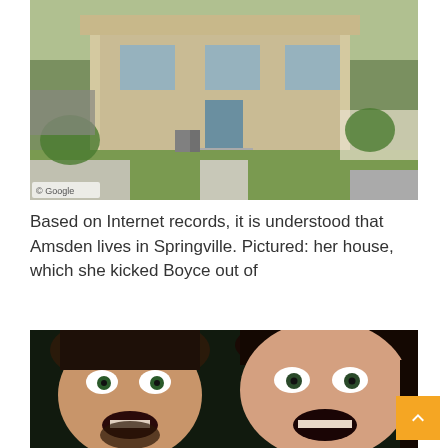[Figure (photo): Google Street View photo of a house in Springville with a front lawn, sidewalk, and garage visible. Google watermark in bottom-left corner.]
Based on Internet records, it is understood that Amsden lives in Springville. Pictured: her house, which she kicked Boyce out of
[Figure (photo): Close-up selfie photo of two people (a man with long dark hair and a woman with dark hair) making wide-eyed, open-mouthed expressions toward the camera.]